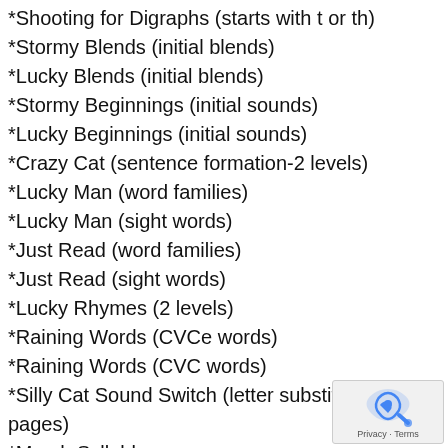*Shooting for Digraphs (starts with t or th)
*Stormy Blends (initial blends)
*Lucky Blends (initial blends)
*Stormy Beginnings (initial sounds)
*Lucky Beginnings (initial sounds)
*Crazy Cat (sentence formation-2 levels)
*Lucky Man (word families)
*Lucky Man (sight words)
*Just Read (word families)
*Just Read (sight words)
*Lucky Rhymes (2 levels)
*Raining Words (CVCe words)
*Raining Words (CVC words)
*Silly Cat Sound Switch (letter substitution-2 pages)
*March Syllables